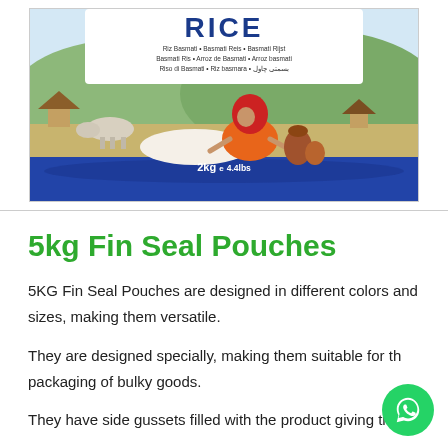[Figure (photo): Product photo of a 2kg Basmati Rice fin seal pouch/bag with a blue bottom, featuring an illustrated Indian woman in a red sari sitting in a rural landscape with a cow and huts. The top of the bag shows 'RICE' in large letters and multilingual text including 'Riz Basmati', 'Basmati Reis', 'Basmati Rijst', 'Basmati Ris', 'Arroz de Basmati', 'Arroz basmati', 'Riso di Basmati', 'Riz basmara' and Urdu script. The bag shows '2kg e 4.4lbs' at the bottom.]
5kg Fin Seal Pouches
5KG Fin Seal Pouches are designed in different colors and sizes, making them versatile.
They are designed specially, making them suitable for the packaging of bulky goods.
They have side gussets filled with the product giving them